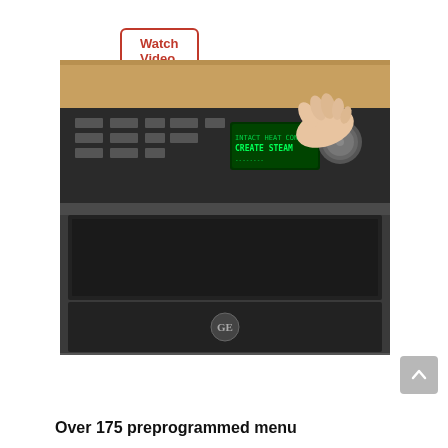[Figure (other): A button/link styled with a red border and red text reading 'Watch Video']
[Figure (photo): A person's hand turning a knob on a GE brand wall oven/microwave combo appliance. The oven has a dark stainless steel finish, a green digital display showing menu text, and multiple control buttons. The GE logo is visible on the lower door.]
Over 175 preprogrammed menu